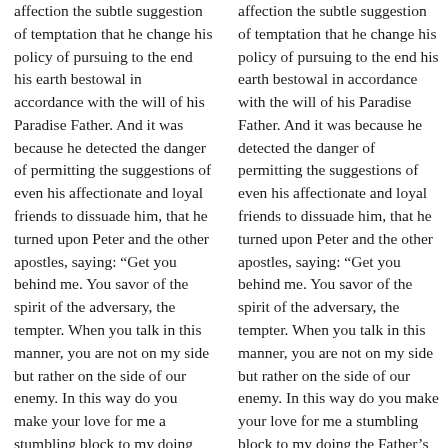affection the subtle suggestion of temptation that he change his policy of pursuing to the end his earth bestowal in accordance with the will of his Paradise Father. And it was because he detected the danger of permitting the suggestions of even his affectionate and loyal friends to dissuade him, that he turned upon Peter and the other apostles, saying: “Get you behind me. You savor of the spirit of the adversary, the tempter. When you talk in this manner, you are not on my side but rather on the side of our enemy. In this way do you make your love for me a stumbling block to my doing the Father’s will. Mind
affection the subtle suggestion of temptation that he change his policy of pursuing to the end his earth bestowal in accordance with the will of his Paradise Father. And it was because he detected the danger of permitting the suggestions of even his affectionate and loyal friends to dissuade him, that he turned upon Peter and the other apostles, saying: “Get you behind me. You savor of the spirit of the adversary, the tempter. When you talk in this manner, you are not on my side but rather on the side of our enemy. In this way do you make your love for me a stumbling block to my doing the Father’s will.